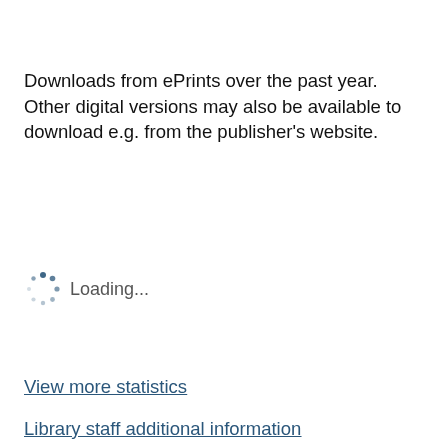Downloads from ePrints over the past year. Other digital versions may also be available to download e.g. from the publisher's website.
[Figure (other): Loading spinner graphic with dots arranged in a circle, with 'Loading...' text next to it]
View more statistics
Library staff additional information